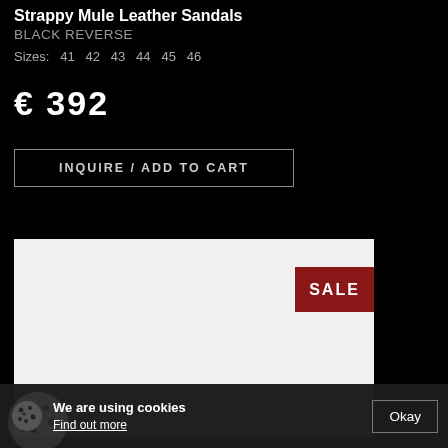Strappy Mule Leather Sandals
BLACK REVERSE
Sizes:  41  42  43  44  45  46
€ 392
INQUIRE / ADD TO CART
[Figure (other): White/light gray product image area with a red SALE badge in the upper right corner]
We are using cookies  Find out more  Okay